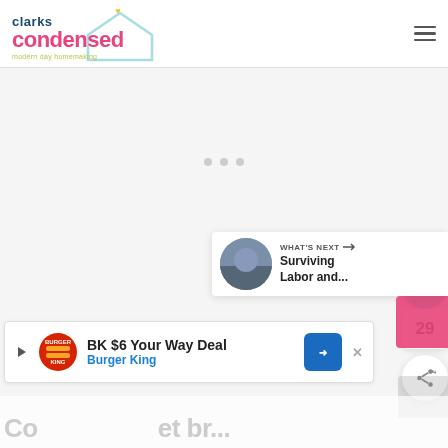[Figure (logo): Clarks Condensed website logo with house illustration and tagline 'modern day homemaking']
[Figure (screenshot): Website screenshot showing Clarks Condensed blog page with navigation hamburger menu, loading dots, social share panel with heart icon (29 likes) and share button, WHAT'S NEXT section showing Surviving Labor and... article thumbnail, partial pink element, and partial page title text at bottom]
[Figure (other): Advertisement banner: BK $6 Your Way Deal - Burger King with play triangle, Burger King logo, and blue navigation arrow]